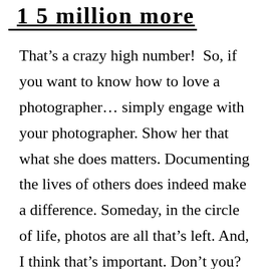1 5 million more
That’s a crazy high number!  So, if you want to know how to love a photographer… simply engage with your photographer. Show her that what she does matters. Documenting the lives of others does indeed make a difference. Someday, in the circle of life, photos are all that’s left. And, I think that’s important. Don’t you?